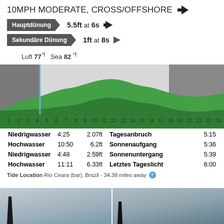10MPH MODERATE, CROSS/OFFSHORE ◀
Hauptdünung ▶  5.5ft at 6s ◀
Sekundäre Dünung ▶  1ft at 8s ▶
🌙 Luft 77°f   Sea 82 °f
[Figure (area-chart): Tide chart]
|  |  |  |  |  |
| --- | --- | --- | --- | --- |
| Niedrigwasser | 4:25 | 2.07ft | Tagesanbruch | 5:15 |
| Hochwasser | 10:50 | 6.2ft | Sonnenaufgang | 5:36 |
| Niedrigwasser | 4:48 | 2.59ft | Sonnenuntergang | 5:39 |
| Hochwasser | 11:11 | 6.33ft | Letztes Tageslicht | 6:00 |
Tide Location Rio Ceara (bar), Brazil - 34.38 miles away ℹ
[Figure (photo): Two photo thumbnails of ocean/surf scene]